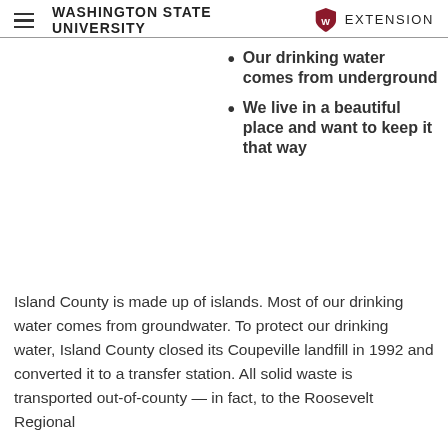Washington State University Extension
Our drinking water comes from underground
We live in a beautiful place and want to keep it that way
Island County is made up of islands. Most of our drinking water comes from groundwater. To protect our drinking water, Island County closed its Coupeville landfill in 1992 and converted it to a transfer station. All solid waste is transported out-of-county — in fact, to the Roosevelt Regional